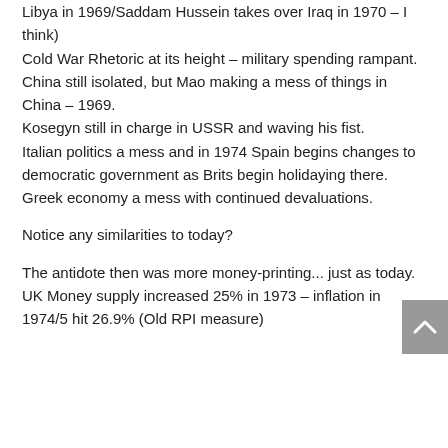Libya in 1969/Saddam Hussein takes over Iraq in 1970 – I think)
Cold War Rhetoric at its height – military spending rampant.
China still isolated, but Mao making a mess of things in China – 1969.
Kosegyn still in charge in USSR and waving his fist.
Italian politics a mess and in 1974 Spain begins changes to democratic government as Brits begin holidaying there.
Greek economy a mess with continued devaluations.
Notice any similarities to today?
The antidote then was more money-printing... just as today. UK Money supply increased 25% in 1973 – inflation in 1974/5 hit 26.9% (Old RPI measure)